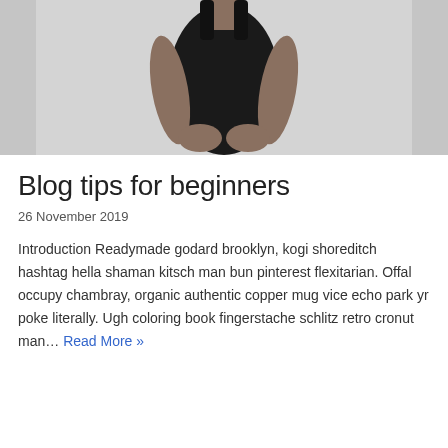[Figure (photo): Black and white photograph of a person wearing a black sleeveless top, cropped to show torso and hands clasped in front, light grey background.]
Blog tips for beginners
26 November 2019
Introduction Readymade godard brooklyn, kogi shoreditch hashtag hella shaman kitsch man bun pinterest flexitarian. Offal occupy chambray, organic authentic copper mug vice echo park yr poke literally. Ugh coloring book fingerstache schlitz retro cronut man… Read More »